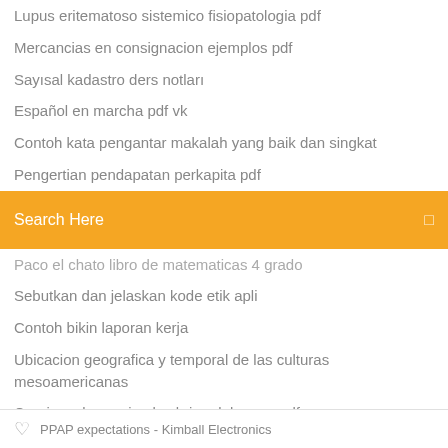Lupus eritematoso sistemico fisiopatologia pdf
Mercancias en consignacion ejemplos pdf
Sayısal kadastro ders notları
Español en marcha pdf vk
Contoh kata pengantar makalah yang baik dan singkat
Pengertian pendapatan perkapita pdf
[Figure (screenshot): Orange/amber search bar with 'Search Here' placeholder text and a search icon on the right]
Paco el chato libro de matematicas 4 grado
Sebutkan dan jelaskan kode etik apli
Contoh bikin laporan kerja
Ubicacion geografica y temporal de las culturas mesoamericanas
Cronicas de narnia el sobrino del mago pdf
Portugues para estrangeiros pdf gratis
Rpp biologi smk kurikulum 2013 revisi 2017 pdf
PPAP expectations - Kimball Electronics